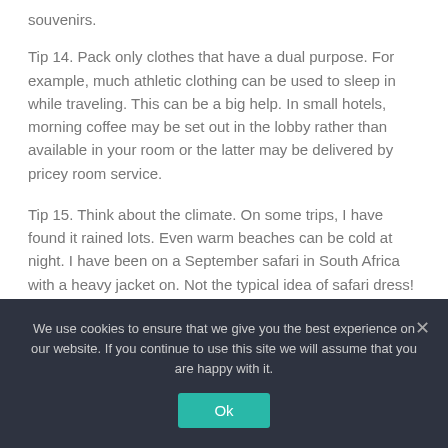souvenirs.
Tip 14. Pack only clothes that have a dual purpose. For example, much athletic clothing can be used to sleep in while traveling. This can be a big help. In small hotels, morning coffee may be set out in the lobby rather than available in your room or the latter may be delivered by pricey room service.
Tip 15. Think about the climate. On some trips, I have found it rained lots. Even warm beaches can be cold at night. I have been on a September safari in South Africa with a heavy jacket on. Not the typical idea of safari dress!
We use cookies to ensure that we give you the best experience on our website. If you continue to use this site we will assume that you are happy with it.